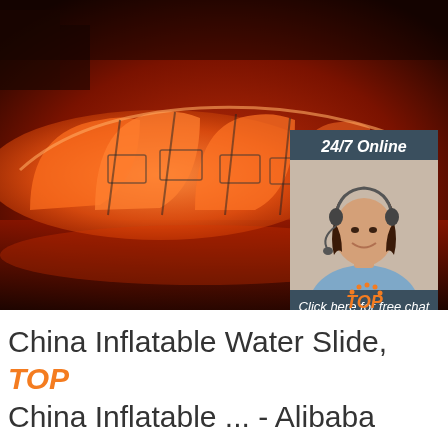[Figure (photo): Large orange glowing inflatable tunnel/tent structure photographed at night, with dark reddish ground lighting]
[Figure (screenshot): Chat widget overlay showing '24/7 Online' header, female customer service agent with headset, 'Click here for free chat!' text and orange QUOTATION button]
[Figure (logo): TOP logo badge with orange semicircle dots above the word TOP in orange italic]
China Inflatable Water Slide, TOP China Inflatable ... - Alibaba